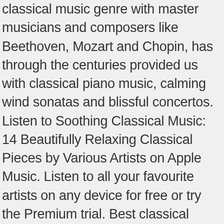classical music genre with master musicians and composers like Beethoven, Mozart and Chopin, has through the centuries provided us with classical piano music, calming wind sonatas and blissful concertos. Listen to Soothing Classical Music: 14 Beautifully Relaxing Classical Pieces by Various Artists on Apple Music. Listen to all your favourite artists on any device for free or try the Premium trial. Best classical music to relax and get positive emotions. Clair de lune, Debussy: Suite bergamasque, L. 75, 3. Ambient minor song with soft men's choral in the background. Listening to soothing and calm music that hypnotizes you have a relaxing effect on the body and mind, particularly if you have a penchant for slow classical music. This is a mixed album of classical music and most of these pieces will be very familiar to most people as its all the very big composers, Mozart, Chopin, Bach etc. So what's the best music to help you